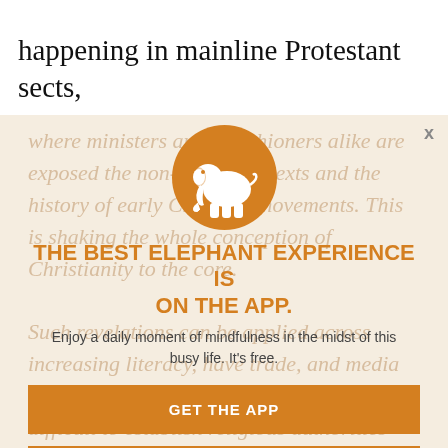happening in mainline Protestant sects,
[Figure (illustration): Orange circular logo with a white elephant silhouette icon in the center]
THE BEST ELEPHANT EXPERIENCE IS ON THE APP.
Enjoy a daily moment of mindfulness in the midst of this busy life. It's free.
GET THE APP
OPEN IN APP